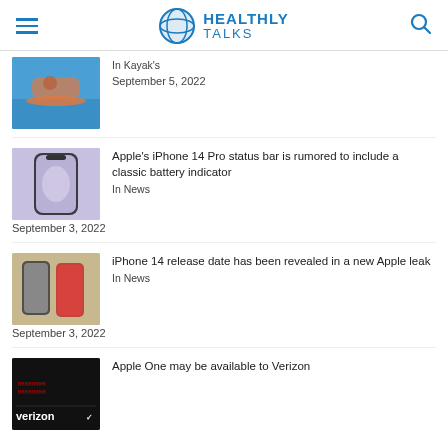HEALTHLY TALKS
In Kayak's
September 5, 2022
Apple's iPhone 14 Pro status bar is rumored to include a classic battery indicator
In News
September 3, 2022
iPhone 14 release date has been revealed in a new Apple leak
In News
September 3, 2022
Apple One may be available to Verizon